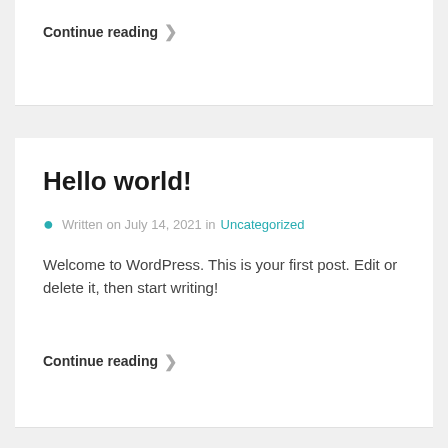Continue reading →
Hello world!
Written on July 14, 2021 in Uncategorized
Welcome to WordPress. This is your first post. Edit or delete it, then start writing!
Continue reading →